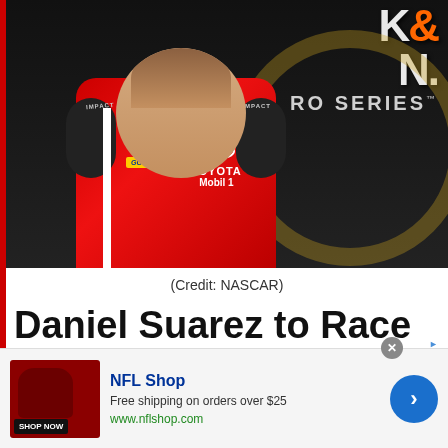[Figure (photo): NASCAR driver Daniel Suarez in a red Toyota/Mobil 1 racing suit, posed in front of a K&N Pro Series logo backdrop on a dark background]
(Credit: NASCAR)
Daniel Suarez to Race for RAB Racing at Chicagoland,
[Figure (other): NFL Shop advertisement banner: shows NFL Shop logo, red jersey image, text 'Free shipping on orders over $25', 'www.nflshop.com', 'SHOP NOW' button, and a blue arrow button]